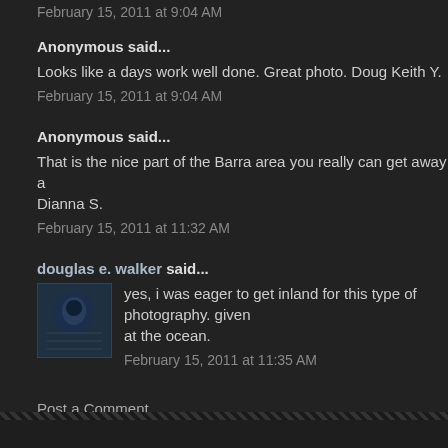February 15, 2011 at 9:04 AM
Anonymous said...
Looks like a days work well done. Great photo. Doug Keith Y.
February 15, 2011 at 9:04 AM
Anonymous said...
That is the nice part of the Barra area you really can get away a... Dianna S.
February 15, 2011 at 11:32 AM
douglas e. walker said...
[Figure (photo): Small avatar photo of douglas e. walker, showing a dark underwater/space themed image]
yes, i was eager to get inland for this type of photography. given at the ocean.
February 15, 2011 at 11:35 AM
Post a Comment